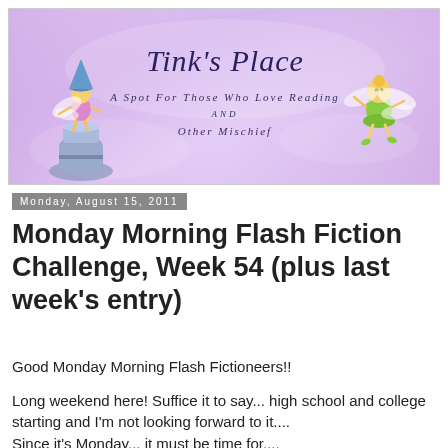[Figure (illustration): Blog header banner with purple/lavender gradient background, two Tinkerbell fairy illustrations (one on left with blue hat and lantern, one on right in green outfit), title 'Tink’s Place' in italic script, subtitle 'A Spot For Those Who Love Reading and Other Mischief' in decorative font]
Monday, August 15, 2011
Monday Morning Flash Fiction Challenge, Week 54 (plus last week’s entry)
Good Monday Morning Flash Fictioneers!!
Long weekend here! Suffice it to say... high school and college starting and I’m not looking forward to it....
Since it’s Monday... it must be time for....